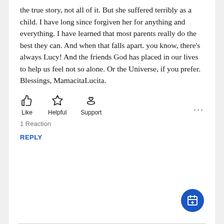the true story, not all of it. But she suffered terribly as a child. I have long since forgiven her for anything and everything. I have learned that most parents really do the best they can. And when that falls apart. you know, there's always Lucy! And the friends God has placed in our lives to help us feel not so alone. Or the Universe, if you prefer. Blessings, MamacitaLucita.
[Figure (screenshot): Social reaction buttons: Like (thumbs up icon), Helpful (star icon), Support (hands with heart icon), and a three-dot more menu on the right]
1 Reaction
REPLY
[Figure (other): Blue circular floating action button with a calendar/add icon]